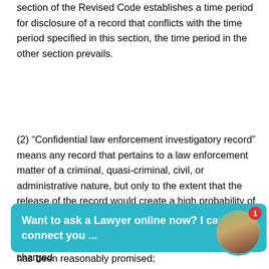section of the Revised Code establishes a time period for disclosure of a record that conflicts with the time period specified in this section, the time period in the other section prevails.
(2) “Confidential law enforcement investigatory record” means any record that pertains to a law enforcement matter of a criminal, quasi-criminal, civil, or administrative nature, but only to the extent that the release of the record would create a high probability of disclosure of any of the following:
(a) The identity of a suspect who has not been charged
[Figure (screenshot): Chat widget overlay with teal background reading 'Want to ask a Lawyer online now? I can connect you ...' with a circular avatar of a woman on the right with a red badge showing '1']
has been reasonably promised;